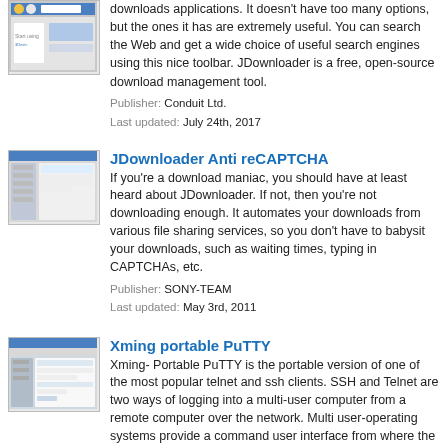[Figure (screenshot): Screenshot thumbnail of JDownloader toolbar application]
downloads applications. It doesn't have too many options, but the ones it has are extremely useful. You can search the Web and get a wide choice of useful search engines using this nice toolbar. JDownloader is a free, open-source download management tool.
Publisher: Conduit Ltd.
Last updated: July 24th, 2017
[Figure (screenshot): Screenshot thumbnail of JDownloader Anti reCAPTCHA application]
JDownloader Anti reCAPTCHA
If you're a download maniac, you should have at least heard about JDownloader. If not, then you're not downloading enough. It automates your downloads from various file sharing services, so you don't have to babysit your downloads, such as waiting times, typing in CAPTCHAs, etc.
Publisher: SONY-TEAM
Last updated: May 3rd, 2011
[Figure (screenshot): Screenshot thumbnail of Xming portable PuTTY application]
Xming portable PuTTY
Xming- Portable PuTTY is the portable version of one of the most popular telnet and ssh clients. SSH and Telnet are two ways of logging into a multi-user computer from a remote computer over the network. Multi user-operating systems provide a command user interface from where the users can